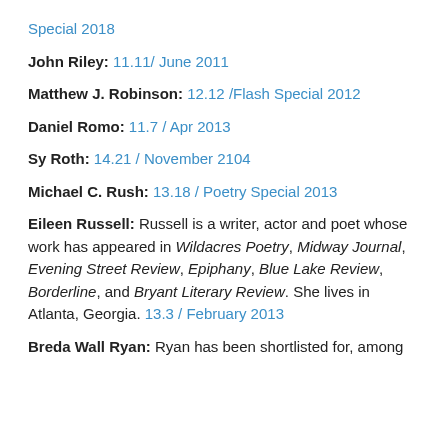Special 2018
John Riley: 11.11/ June 2011
Matthew J. Robinson: 12.12 /Flash Special 2012
Daniel Romo: 11.7 / Apr 2013
Sy Roth: 14.21 / November 2104
Michael C. Rush: 13.18 / Poetry Special 2013
Eileen Russell: Russell is a writer, actor and poet whose work has appeared in Wildacres Poetry, Midway Journal, Evening Street Review, Epiphany, Blue Lake Review, Borderline, and Bryant Literary Review. She lives in Atlanta, Georgia. 13.3 / February 2013
Breda Wall Ryan: Ryan has been shortlisted for, among